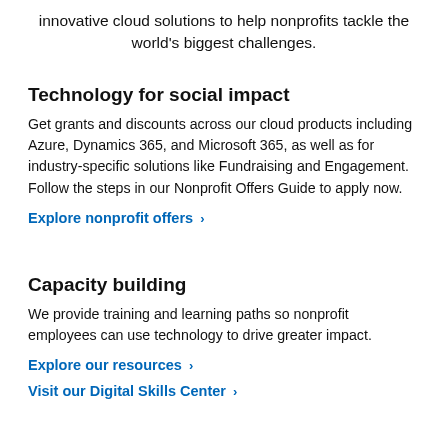innovative cloud solutions to help nonprofits tackle the world's biggest challenges.
Technology for social impact
Get grants and discounts across our cloud products including Azure, Dynamics 365, and Microsoft 365, as well as for industry-specific solutions like Fundraising and Engagement. Follow the steps in our Nonprofit Offers Guide to apply now.
Explore nonprofit offers ›
Capacity building
We provide training and learning paths so nonprofit employees can use technology to drive greater impact.
Explore our resources ›
Visit our Digital Skills Center ›